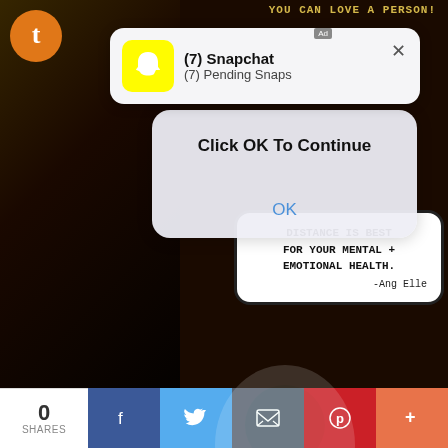[Figure (screenshot): Screenshot of a mobile/web page showing a dark background with a comic-style illustration, overlaid with a Snapchat notification banner reading '(7) Snapchat / (7) Pending Snaps', a modal dialog reading 'Click OK To Continue' with an OK button, a speech bubble with text 'DISTANCE IS BEST FOR YOUR MENTAL + EMOTIONAL HEALTH. -Ang Elle', and top text 'YOU CAN LOVE A PERSON!'. Bottom has a social share bar with 0 SHARES and Facebook, Twitter, Email, Pinterest, More buttons.]
YOU CAN LOVE A PERSON!
(7) Snapchat
(7) Pending Snaps
DISTANCE IS BEST FOR YOUR MENTAL + EMOTIONAL HEALTH. -Ang Elle
Click OK To Continue
OK
0
SHARES